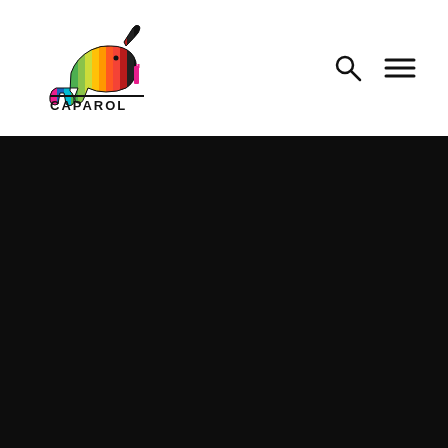[Figure (logo): Caparol logo: colorful striped elephant silhouette with CAPAROL text below]
[Figure (other): Search icon (magnifying glass) and hamburger menu icon in the top-right navigation area]
[Figure (other): Large dark/black background area filling the lower two-thirds of the page]